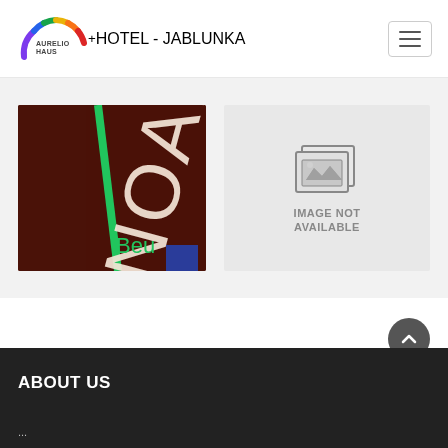Aurelio Haus logo and navigation
[Figure (photo): Dark brown name plate with 'NOAH' text in cream/white letters and a green diagonal stripe, partially showing text 'Beu' in green]
[Figure (photo): Placeholder image with grey icon and text 'IMAGE NOT AVAILABLE']
ABOUT US
...